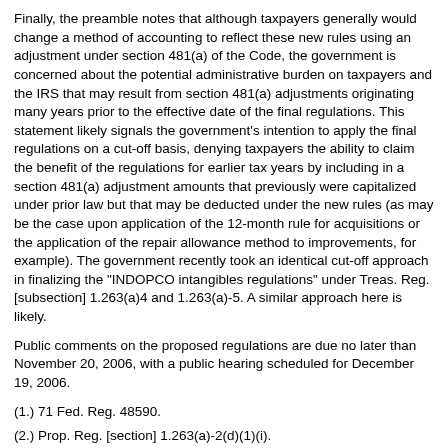Finally, the preamble notes that although taxpayers generally would change a method of accounting to reflect these new rules using an adjustment under section 481(a) of the Code, the government is concerned about the potential administrative burden on taxpayers and the IRS that may result from section 481(a) adjustments originating many years prior to the effective date of the final regulations. This statement likely signals the government's intention to apply the final regulations on a cut-off basis, denying taxpayers the ability to claim the benefit of the regulations for earlier tax years by including in a section 481(a) adjustment amounts that previously were capitalized under prior law but that may be deducted under the new rules (as may be the case upon application of the 12-month rule for acquisitions or the application of the repair allowance method to improvements, for example). The government recently took an identical cut-off approach in finalizing the "INDOPCO intangibles regulations" under Treas. Reg. [subsection] 1.263(a)4 and 1.263(a)-5. A similar approach here is likely.
Public comments on the proposed regulations are due no later than November 20, 2006, with a public hearing scheduled for December 19, 2006.
(1.) 71 Fed. Reg. 48590.
(2.) Prop. Reg. [section] 1.263(a)-2(d)(1)(i).
(3.) Prop. Reg. [subsection] 1.263(a)-2(b)(2) and (3); Treas. Reg. [section] 1.48-1.
(4.) See, e.g., Prop. Reg. [section] 1.263(a)-2(d)(4)(vi), Exs. 1 and 2.